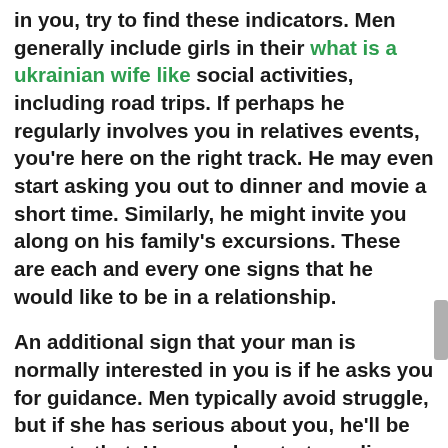in you, try to find these indicators. Men generally include girls in their what is a ukrainian wife like social activities, including road trips. If perhaps he regularly involves you in relatives events, you're here on the right track. He may even start asking you out to dinner and movie a short time. Similarly, he might invite you along on his family's excursions. These are each and every one signs that he would like to be in a relationship.

An additional sign that your man is normally interested in you is if he asks you for guidance. Men typically avoid struggle, but if she has serious about you, he'll be open to that. He may also start sending text messages you incessantly. He may also reply to the messages while you are around. Watch out for signs of worry when it comes to human relationships.